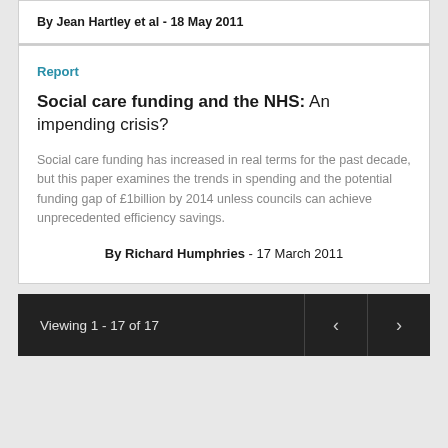By Jean Hartley et al - 18 May 2011
Report
Social care funding and the NHS: An impending crisis?
Social care funding has increased in real terms for the past decade, but this paper examines the trends in spending and the potential funding gap of £1billion by 2014 unless councils can achieve unprecedented efficiency savings.
By Richard Humphries - 17 March 2011
Viewing 1 - 17 of 17